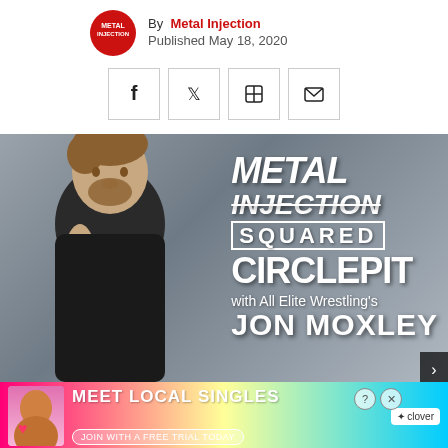By Metal Injection
Published May 18, 2020
[Figure (screenshot): Social sharing buttons: Facebook, Twitter, Flipboard, Email]
[Figure (photo): Metal Injection Squared Circle Pit with All Elite Wrestling's Jon Moxley — photo of Jon Moxley with show logo overlay]
[Figure (infographic): Advertisement banner: MEET LOCAL SINGLES — Join with a free trial today — clover]